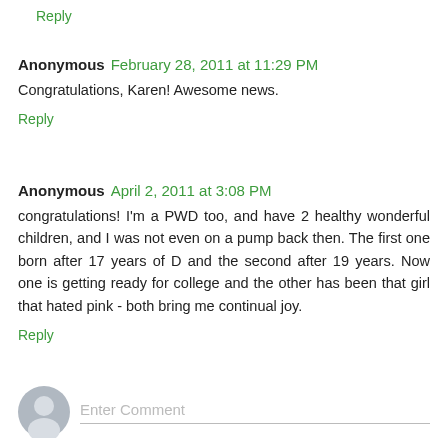Reply
Anonymous  February 28, 2011 at 11:29 PM
Congratulations, Karen! Awesome news.
Reply
Anonymous  April 2, 2011 at 3:08 PM
congratulations! I'm a PWD too, and have 2 healthy wonderful children, and I was not even on a pump back then. The first one born after 17 years of D and the second after 19 years. Now one is getting ready for college and the other has been that girl that hated pink - both bring me continual joy.
Reply
Enter Comment